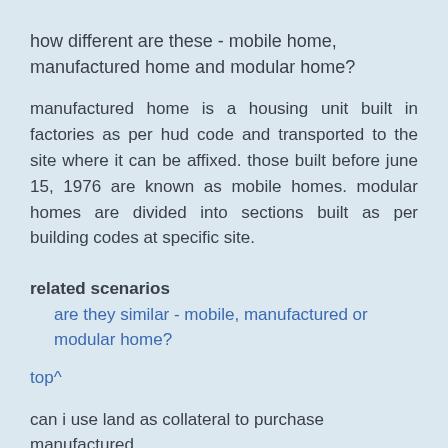how different are these - mobile home, manufactured home and modular home?
manufactured home is a housing unit built in factories as per hud code and transported to the site where it can be affixed. those built before june 15, 1976 are known as mobile homes. modular homes are divided into sections built as per building codes at specific site.
related scenarios
are they similar - mobile, manufactured or modular home?
top^
can i use land as collateral to purchase manufactured